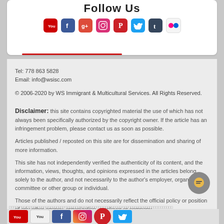[Figure (infographic): Social media follow us section with icons for YouTube, Facebook, Google+, Instagram, Pinterest, Twitter, Tumblr, Flickr with a red underline]
Tel: 778 863 5828
Email: info@wsisc.com
© 2006-2020 by WS Immigrant & Multicultural Services. All Rights Reserved.
Disclaimer: this site contains copyrighted material the use of which has not always been specifically authorized by the copyright owner. If the article has an infringement problem, please contact us as soon as possible.

Articles published / reposted on this site are for dissemination and sharing of more information.

This site has not independently verified the authenticity of its content, and the information, views, thoughts, and opinions expressed in the articles belong solely to the author, and not necessarily to the author's employer, organization, committee or other group or individual.

Those of the authors and do not necessarily reflect the official policy or position of any other agency, organization, employer or company.
[Figure (infographic): Bottom row of social media icons: red YouTube, You, Facebook blue, colorful Instagram, red Pinterest/circle, blue Twitter]